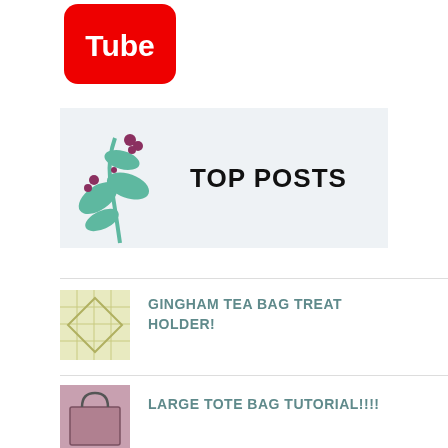[Figure (logo): YouTube logo showing 'Tube' text on red rounded rectangle]
[Figure (illustration): Top Posts banner with plant/flower illustration on light grey background and bold text TOP POSTS]
[Figure (photo): Small thumbnail of gingham tea bag treat holder craft project]
GINGHAM TEA BAG TREAT HOLDER!
[Figure (photo): Small thumbnail of large tote bag in pink/purple fabric]
LARGE TOTE BAG TUTORIAL!!!!